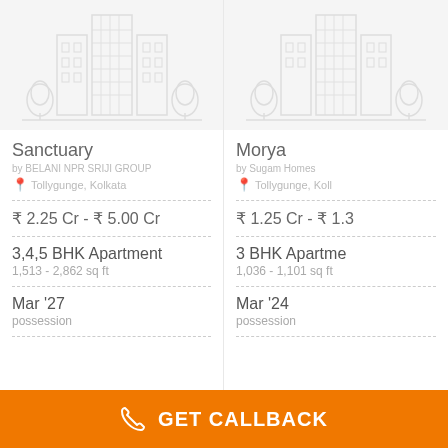[Figure (illustration): Apartment building icon outline for Sanctuary listing]
Sanctuary
by BELANI NPR SRIJI GROUP
Tollygunge, Kolkata
₹ 2.25 Cr - ₹ 5.00 Cr
3,4,5 BHK Apartment
1,513 - 2,862 sq ft
Mar '27
possession
[Figure (illustration): Apartment building icon outline for Morya listing]
Morya
by Sugam Homes
Tollygunge, Koll
₹ 1.25 Cr - ₹ 1.3…
3 BHK Apartment
1,036 - 1,101 sq ft
Mar '24
possession
GET CALLBACK